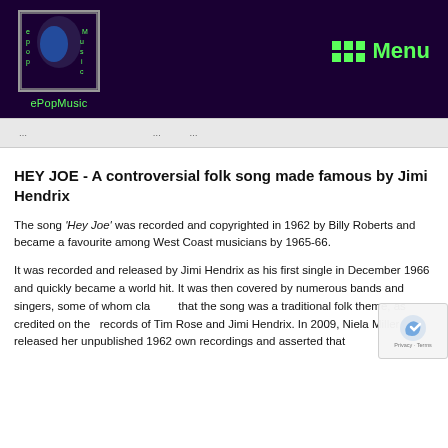[Figure (logo): ePopMusic website logo with stylized face silhouette and green text, on dark purple background]
ePopMusic  Menu
navigation bar with partial links
HEY JOE  -  A controversial folk song made famous by Jimi Hendrix
The song ‘Hey Joe’ was recorded and copyrighted in 1962 by Billy Roberts and became a favourite among West Coast musicians by 1965-66.
It was recorded and released by Jimi Hendrix as his first single in December 1966 and quickly became a world hit. It was then covered by numerous bands and singers, some of whom claimed that the song was a traditional folk theme, as credited on the records of Tim Rose and Jimi Hendrix. In 2009, Niela Miller released her unpublished 1962 own recordings and asserted that